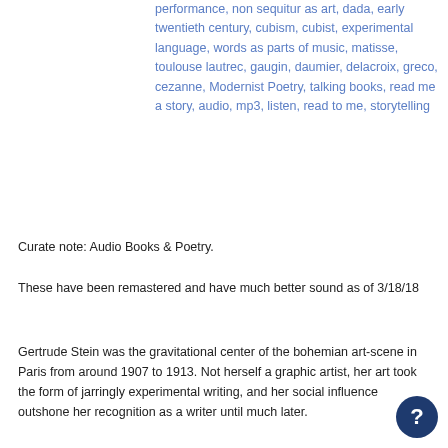performance, non sequitur as art, dada, early twentieth century, cubism, cubist, experimental language, words as parts of music, matisse, toulouse lautrec, gaugin, daumier, delacroix, greco, cezanne, Modernist Poetry, talking books, read me a story, audio, mp3, listen, read to me, storytelling
Curate note: Audio Books & Poetry.
These have been remastered and have much better sound as of 3/18/18
Gertrude Stein was the gravitational center of the bohemian art-scene in Paris from around 1907 to 1913. Not herself a graphic artist, her art took the form of jarringly experimental writing, and her social influence outshone her recognition as a writer until much later.